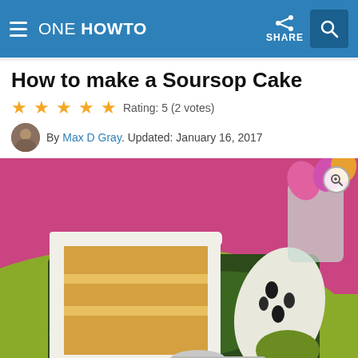ONE HOWTO
How to make a Soursop Cake
Rating: 5 (2 votes)
By Max D Gray. Updated: January 16, 2017
[Figure (photo): A slice of soursop layer cake with white frosting on a dark green plate, served with a piece of soursop fruit, a spoon, on a green surface with pink background and flowers in a glass vase.]